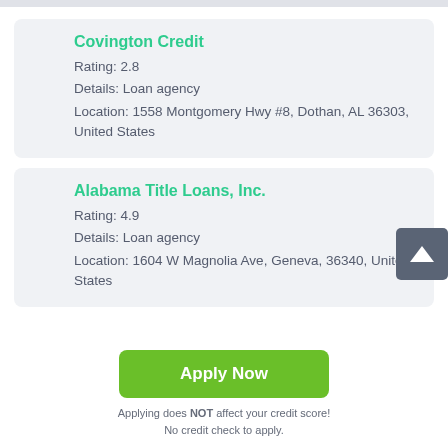Covington Credit
Rating: 2.8
Details: Loan agency
Location: 1558 Montgomery Hwy #8, Dothan, AL 36303, United States
Alabama Title Loans, Inc.
Rating: 4.9
Details: Loan agency
Location: 1604 W Magnolia Ave, Geneva, 36340, United States
Apply Now
Applying does NOT affect your credit score!
No credit check to apply.